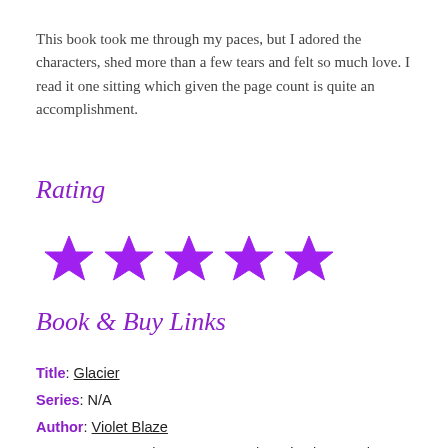This book took me through my paces, but I adored the characters, shed more than a few tears and felt so much love. I read it one sitting which given the page count is quite an accomplishment.
Rating
[Figure (illustration): Five purple six-pointed star icons representing a 5-star rating]
Book & Buy Links
Title: Glacier
Series: N/A
Author: Violet Blaze
Genre: Romance | Contemporary | Erotica | BDSM | MC